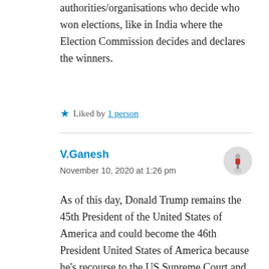authorities/organisations who decide who won elections, like in India where the Election Commission decides and declares the winners.
Liked by 1 person
V.Ganesh
November 10, 2020 at 1:26 pm
As of this day, Donald Trump remains the 45th President of the United States of America and could become the 46th President United States of America because he's recourse to the US Supreme Court and US Congress. Please read this to know how https://nationalinterest.org/feature/donald-trumps-stealthy-road-victory-172235